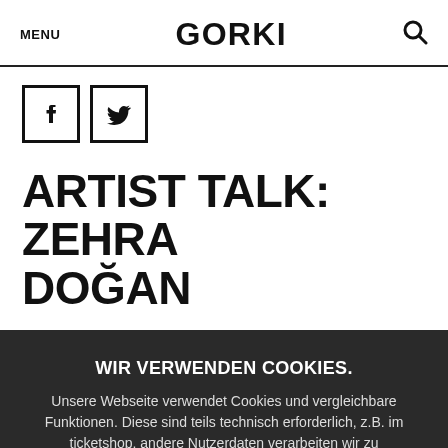MENU   GORKI   🔍
[Figure (illustration): Two social media icon boxes: Facebook (f) and Twitter (bird) with square borders]
ARTIST TALK: ZEHRA DOĞAN
WIR VERWENDEN COOKIES.
Unsere Webseite verwendet Cookies und vergleichbare Funktionen. Diese sind teils technisch erforderlich, z.B. im ticketshop, andere Nutzerdaten verarbeiten wir zu